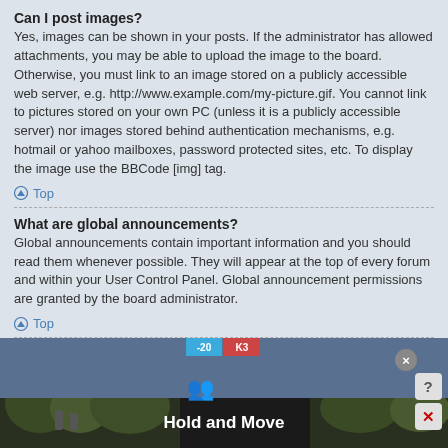Can I post images?
Yes, images can be shown in your posts. If the administrator has allowed attachments, you may be able to upload the image to the board. Otherwise, you must link to an image stored on a publicly accessible web server, e.g. http://www.example.com/my-picture.gif. You cannot link to pictures stored on your own PC (unless it is a publicly accessible server) nor images stored behind authentication mechanisms, e.g. hotmail or yahoo mailboxes, password protected sites, etc. To display the image use the BBCode [img] tag.
Top
What are global announcements?
Global announcements contain important information and you should read them whenever possible. They will appear at the top of every forum and within your User Control Panel. Global announcement permissions are granted by the board administrator.
Top
What are announcements?
Announcements often contain important information for the forum you are
[Figure (screenshot): Advertisement banner showing Hold and Move app with dark background, score overlay, trees in background, and close/help/dismiss buttons.]